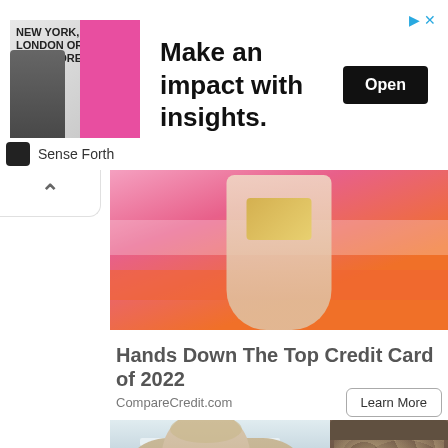[Figure (photo): Advertisement banner: image on left with person and 'NEW YORK, LONDON OR SINGAPORE' text, center text 'Make an impact with insights.', black 'Open' button on right, triangular play icon and X close button top right]
Sense Forth
[Figure (photo): Hands holding a credit card against an orange/pink striped background]
Hands Down The Top Credit Card of 2022
CompareCredit.com
Learn More
[Figure (photo): Older man in suit pointing at something, in a hospital/office corridor; right half shows a cooking pot with boiling liquid]